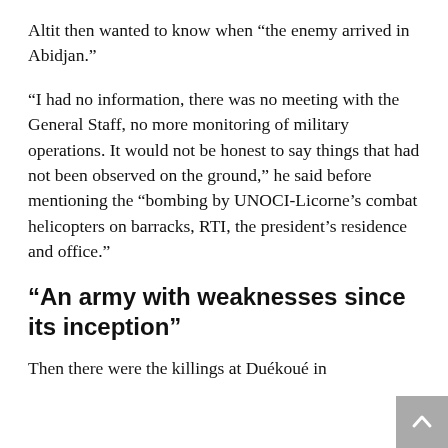Altit then wanted to know when “the enemy arrived in Abidjan.”
“I had no information, there was no meeting with the General Staff, no more monitoring of military operations. It would not be honest to say things that had not been observed on the ground,” he said before mentioning the “bombing by UNOCI-Licorne’s combat helicopters on barracks, RTI, the president’s residence and office.”
“An army with weaknesses since its inception”
Then there were the killings at Duékoué in